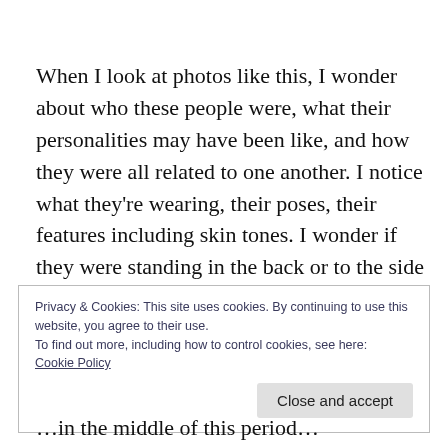When I look at photos like this, I wonder about who these people were, what their personalities may have been like, and how they were all related to one another. I notice what they're wearing, their poses, their features including skin tones. I wonder if they were standing in the back or to the side
Privacy & Cookies: This site uses cookies. By continuing to use this website, you agree to their use.
To find out more, including how to control cookies, see here: Cookie Policy
Close and accept
…in the middle of this period…